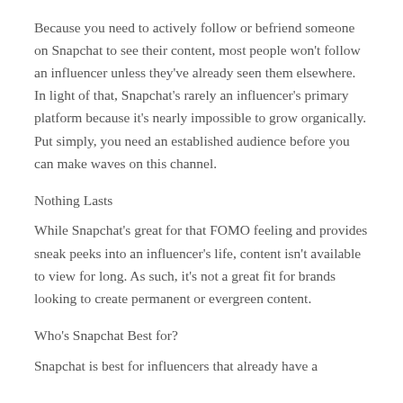Because you need to actively follow or befriend someone on Snapchat to see their content, most people won't follow an influencer unless they've already seen them elsewhere. In light of that, Snapchat's rarely an influencer's primary platform because it's nearly impossible to grow organically. Put simply, you need an established audience before you can make waves on this channel.
Nothing Lasts
While Snapchat's great for that FOMO feeling and provides sneak peeks into an influencer's life, content isn't available to view for long. As such, it's not a great fit for brands looking to create permanent or evergreen content.
Who's Snapchat Best for?
Snapchat is best for influencers that already have a